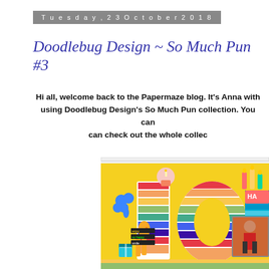Tuesday, 23 October 2018
Doodlebug Design ~ So Much Pun #3
Hi all, welcome back to the Papermaze blog. It's Anna with using Doodlebug Design's So Much Pun collection. You can can check out the whole collec…
[Figure (photo): Colorful scrapbook layout featuring rainbow striped number 10, birthday stickers including a cupcake, balloon animal, giraffe, and candles, with a photo of a child, on a yellow background. Partially cropped.]